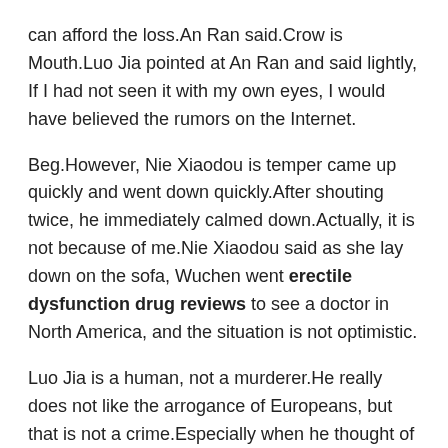can afford the loss.An Ran said.Crow is Mouth.Luo Jia pointed at An Ran and said lightly, If I had not seen it with my own eyes, I would have believed the rumors on the Internet.
Beg.However, Nie Xiaodou is temper came up quickly and went down quickly.After shouting twice, he immediately calmed down.Actually, it is not because of me.Nie Xiaodou said as she lay down on the sofa, Wuchen went erectile dysfunction drug reviews to see a doctor in North America, and the situation is not optimistic.
Luo Jia is a human, not a murderer.He really does not like the arrogance of Europeans, but that is not a crime.Especially when he thought of the piranha, which might bite the children is little JJ, Luo Jia could not help but feel bad.
By the way, he had to visit the general to talk with erectile dysfunction drug reviews him about the future